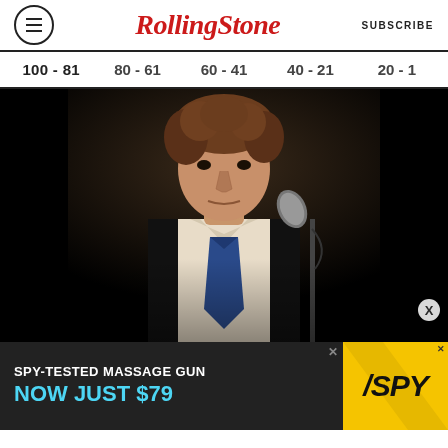Rolling Stone | SUBSCRIBE
100 - 81   80 - 61   60 - 41   40 - 21   20 - 1
[Figure (photo): Man in black vest and blue tie singing at a microphone stand against a dark background, with curly hair, performing on stage.]
[Figure (screenshot): Advertisement banner: SPY-TESTED MASSAGE GUN NOW JUST $79 with SPY logo on yellow background]